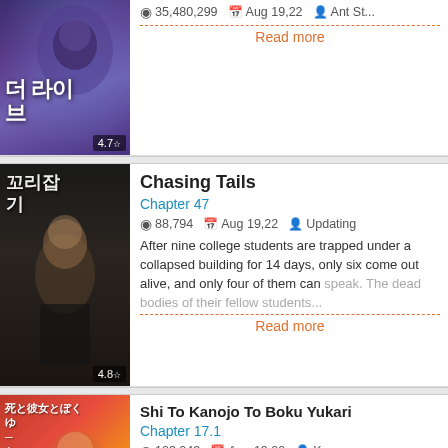[Figure (illustration): Manga/manhwa cover thumbnail for a Korean title, dark blue/purple tones with Korean text and character artwork, rating badge 4.7]
35,480,299   Aug 19,22   Ant St...
Read more
[Figure (illustration): Manga cover thumbnail for Chasing Tails (꼬리잡기), dark background with anime boy character, rating badge 4.8]
Chasing Tails
Chapter 47
88,794   Aug 19,22   Updating
After nine college students are trapped under a collapsed building for 14 days, only six come out alive, and only four of them can speak. The dead bodies of their fellow students...
Read more
[Figure (illustration): Manga cover thumbnail for Shi To Kanojo To Boku Yukari, red/orange tones with Japanese text and anime girl character, volume 1 badge]
Shi To Kanojo To Boku Yukari
Chapter 17.1
123,043   Aug 19,22   Kawaguc...
Sequel to Shi to Kanojo to Boku.